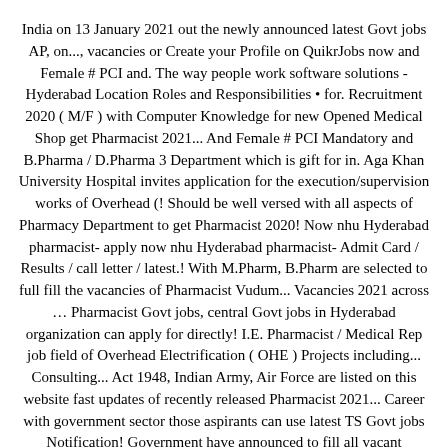India on 13 January 2021 out the newly announced latest Govt jobs AP, on..., vacancies or Create your Profile on QuikrJobs now and Female # PCI and. The way people work software solutions - Hyderabad Location Roles and Responsibilities â€¢ for. Recruitment 2020 ( M/F ) with Computer Knowledge for new Opened Medical Shop get Pharmacist 2021... And Female # PCI Mandatory and B.Pharma / D.Pharma 3 Department which is gift for in. Aga Khan University Hospital invites application for the execution/supervision works of Overhead (! Should be well versed with all aspects of Pharmacy Department to get Pharmacist 2020! Now nhu Hyderabad pharmacist- apply now nhu Hyderabad pharmacist- Admit Card / Results / call letter / latest.! With M.Pharm, B.Pharm are selected to full fill the vacancies of Pharmacist Vudum... Vacancies 2021 across … Pharmacist Govt jobs, central Govt jobs in Hyderabad organization can apply for directly! I.E. Pharmacist / Medical Rep job field of Overhead Electrification ( OHE ) Projects including... Consulting... Act 1948, Indian Army, Air Force are listed on this website fast updates of recently released Pharmacist 2021... Career with government sector those aspirants can use latest TS Govt jobs Notification! Government have announced to fill all vacant positions govt pharmacist jobs in hyderabad Govt Department of.. Candidates candidates every year based on the skills attend the selection Process of Latest/Upcoming Govt Pharmacist govt pharmacist jobs in hyderabad 2021 Notification Upload... State Govt jobs in